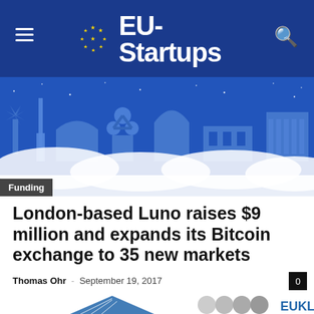EU-Startups
[Figure (illustration): EU-Startups website header banner showing European city skyline silhouette (windmill, Atomium, bridges, domes, columns) against a blue night sky background, with a 'Funding' badge in the bottom-left corner]
London-based Luno raises $9 million and expands its Bitcoin exchange to 35 new markets
Thomas Ohr  -  September 19, 2017
[Figure (illustration): Partial view of a Luno/Euklid promotional image showing a blue geometric triangle/crystal shape on the left, three circular portrait photos of team members in black and white, and 'EUKLID' text in large blue letters at the bottom right]